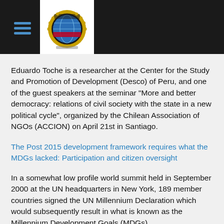[Logo and navigation header]
Eduardo Toche is a researcher at the Center for the Study and Promotion of Development (Desco) of Peru, and one of the guest speakers at the seminar “More and better democracy: relations of civil society with the state in a new political cycle”, organized by the Chilean Association of NGOs (ACCION) on April 21st in Santiago.
The Post 2015 development framework requires what the MDGs lacked: Participation and citizen oversight
In a somewhat low profile world summit held in September 2000 at the UN headquarters in New York, 189 member countries signed the UN Millennium Declaration which would subsequently result in what is known as the Millennium Development Goals (MDGs).